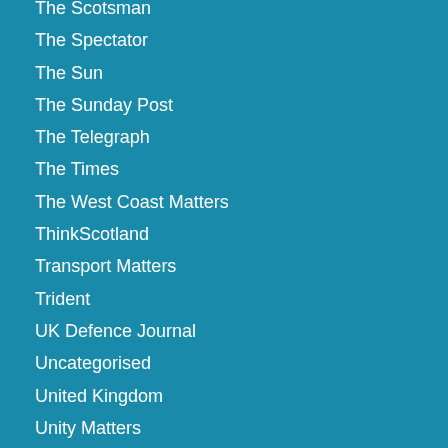The Scotsman
The Spectator
The Sun
The Sunday Post
The Telegraph
The Times
The West Coast Matters
ThinkScotland
Transport Matters
Trident
UK Defence Journal
Uncategorised
United Kingdom
Unity Matters
Victor Clements
wecan.scot
Weekly Update